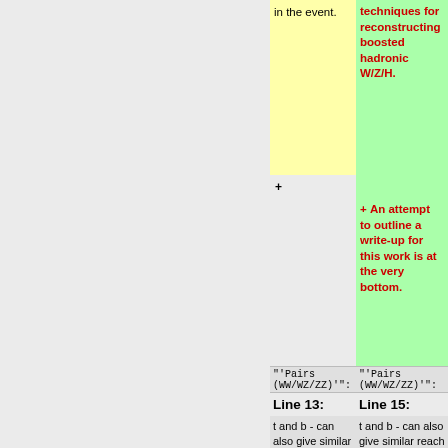in the event.
techniques for reconstructing boosted hadronic W/Z/H.
An attempt to outline a write-up for this work is at the very bottom.
'Pairs (WW/WZ/ZZ)':
'Pairs (WW/WZ/ZZ)':
Line 13:
Line 15:
t and b - can also give similar reach for W'. Interestingly, the gluon' -> t tbar - with gluon' mass beinig similar to W' - can be a siginificant background to this channel since highly boosted t can fake b: techniques similar to the ones used to identify highly boosted tops
t and b - can also give similar reach for W'. Interestingly, the gluon' -> t tbar - with gluon' mass beinig similar to W' - can be a siginificant background to this channel since highly boosted t can fake b: techniques similar to the ones used to identify highly boosted tops